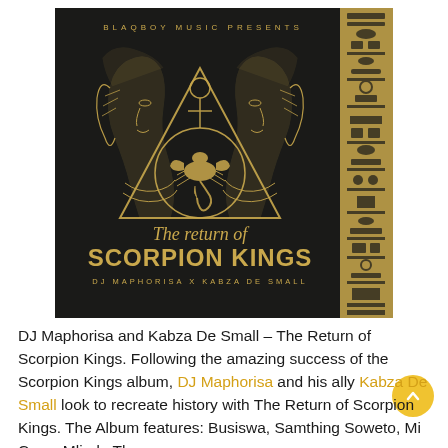[Figure (illustration): Album cover for 'The Return of Scorpion Kings' by DJ Maphorisa x Kabza De Small. Dark background with gold artwork featuring two Egyptian pharaoh profiles facing outward flanking a triangle with a scorpion inside a circle, an ankh symbol, and Egyptian hieroglyphics on the right border. Text reads 'BLAQBOY MUSIC PRESENTS' at top, cursive 'The return of' above bold 'SCORPION KINGS', and 'DJ MAPHORISA X KABZA DE SMALL' at bottom.]
DJ Maphorisa and Kabza De Small – The Return of Scorpion Kings. Following the amazing success of the Scorpion Kings album, DJ Maphorisa and his ally Kabza De Small look to recreate history with The Return of Scorpion Kings. The Album features: Busiswa, Samthing Soweto, Mi Casa, Mlindo The